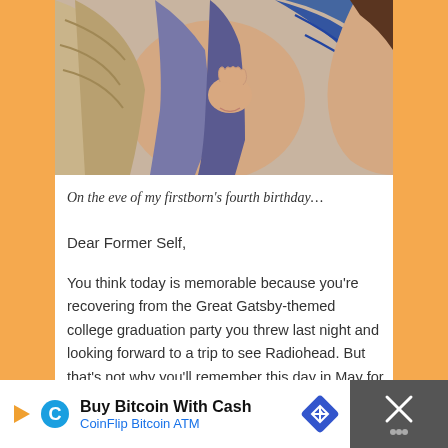[Figure (photo): Close-up photo of a newborn baby being held, wearing a knitted colorful scarf/wrap, with an adult's face partially visible on the right side.]
On the eve of my firstborn's fourth birthday…
Dear Former Self,
You think today is memorable because you're recovering from the Great Gatsby-themed college graduation party you threw last night and looking forward to a trip to see Radiohead. But that's not why you'll remember this day in May for the rest of your life. The funny thing is, the reason today is memorable won't even occur to you for weeks to come.
[Figure (screenshot): Mobile advertisement banner at bottom: 'Buy Bitcoin With Cash - CoinFlip Bitcoin ATM' with play button, CoinFlip C logo, blue diamond navigation icon. Right side shows dark close/dismiss button with X icon.]